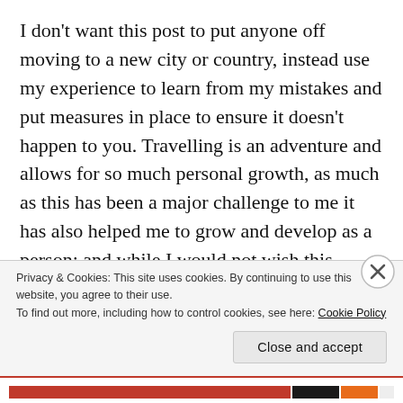I don't want this post to put anyone off moving to a new city or country, instead use my experience to learn from my mistakes and put measures in place to ensure it doesn't happen to you. Travelling is an adventure and allows for so much personal growth, as much as this has been a major challenge to me it has also helped me to grow and develop as a person; and while I would not wish this experience on others I do not regret the decisions I made at the time – at least I have learnt from
Privacy & Cookies: This site uses cookies. By continuing to use this website, you agree to their use.
To find out more, including how to control cookies, see here: Cookie Policy
Close and accept